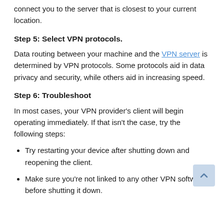connect you to the server that is closest to your current location.
Step 5: Select VPN protocols.
Data routing between your machine and the VPN server is determined by VPN protocols. Some protocols aid in data privacy and security, while others aid in increasing speed.
Step 6: Troubleshoot
In most cases, your VPN provider's client will begin operating immediately. If that isn't the case, try the following steps:
Try restarting your device after shutting down and reopening the client.
Make sure you're not linked to any other VPN software before shutting it down.
Step 7: Make any necessary adjustments to the connection.
It's time to make enhancements now that you've gotten the